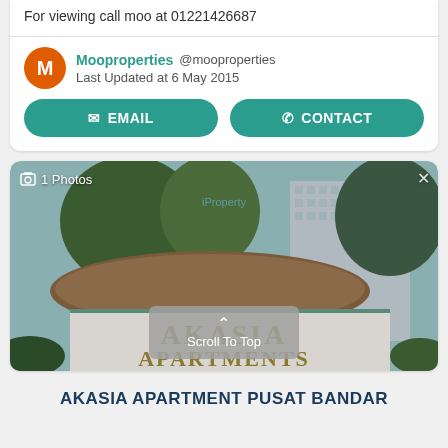For viewing call moo at 01221426687
Mooproperties @mooproperties
Last Updated at 6 May 2015
EMAIL
CONTACT
[Figure (photo): Photograph of Akasia Apartments building entrance sign with trees and multi-storey building in background. White sign reads 'AKASIA APARTMENTS' in gold letters.]
1 Photos
Scroll To Top
AKASIA APARTMENT PUSAT BANDAR